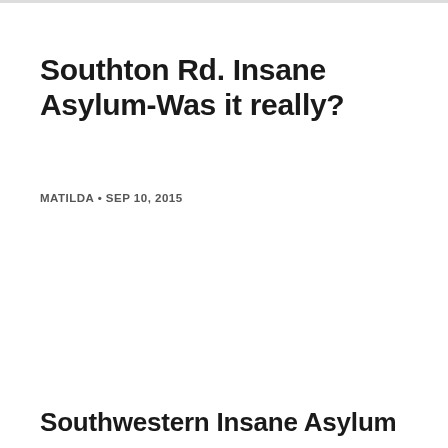Southton Rd. Insane Asylum-Was it really?
MATILDA • SEP 10, 2015
Southwestern Insane Asylum